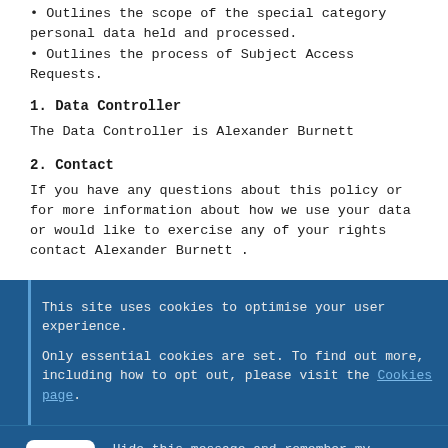• Outlines the scope of the special category personal data held and processed.
• Outlines the process of Subject Access Requests.
1. Data Controller
The Data Controller is Alexander Burnett
2. Contact
If you have any questions about this policy or for more information about how we use your data or would like to exercise any of your rights contact Alexander Burnett .
This site uses cookies to optimise your user experience.
Only essential cookies are set. To find out more, including how to opt out, please visit the Cookies page.
OK   Hide this message and remember my decision